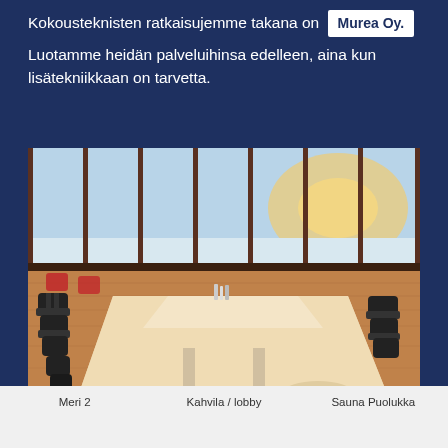Kokousteknisten ratkaisujemme takana on Murea Oy. Luotamme heidän palveluihinsa edelleen, aina kun lisätekniikkaan on tarvetta.
[Figure (photo): Conference room with a long white table, black chairs on both sides, large floor-to-ceiling windows showing a winter landscape with snow and sunset light. Wooden floor, modern interior.]
Meri 2    Kahvila / lobby    Sauna Puolukka